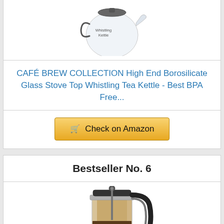[Figure (photo): Glass whistling tea kettle product photo - partial, top portion visible]
CAFÉ BREW COLLECTION High End Borosilicate Glass Stove Top Whistling Tea Kettle - Best BPA Free...
Check on Amazon
Bestseller No. 6
[Figure (photo): Glass French press coffee maker product photo with black handle and lid, silver band, dark coffee visible inside]